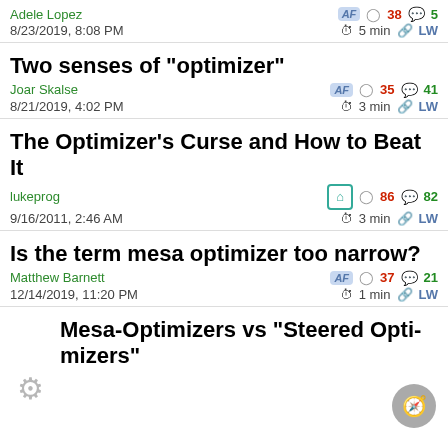Adele Lopez | AF | 38 karma | 5 comments | 8/23/2019, 8:08 PM | 5 min | LW
Two senses of “optimizer” | Joar Skalse | AF | 35 karma | 41 comments | 8/21/2019, 4:02 PM | 3 min | LW
The Optimizer’s Curse and How to Beat It | lukeprog | 86 karma | 82 comments | 9/16/2011, 2:46 AM | 3 min | LW
Is the term mesa optimizer too narrow? | Matthew Barnett | AF | 37 karma | 21 comments | 12/14/2019, 11:20 PM | 1 min | LW
Mesa-Optimizers vs “Steered Opti-mizers”